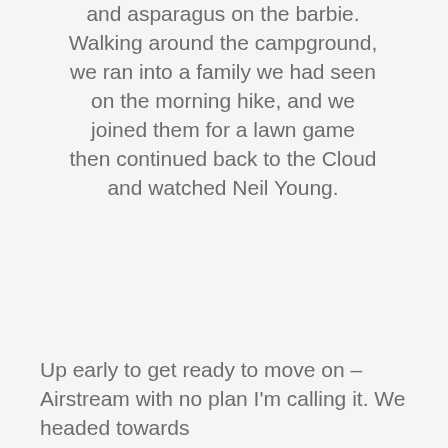and asparagus on the barbie. Walking around the campground, we ran into a family we had seen on the morning hike, and we joined them for a lawn game then continued back to the Cloud and watched Neil Young.
Up early to get ready to move on – Airstream with no plan I'm calling it. We headed towards